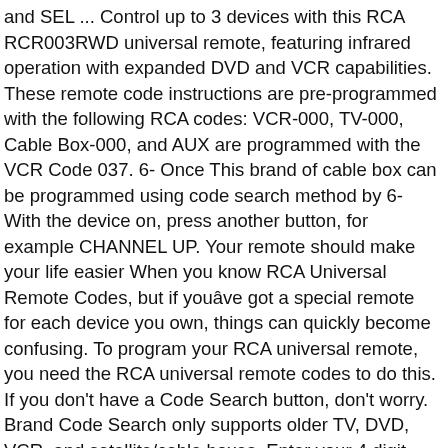and SEL ... Control up to 3 devices with this RCA RCR003RWD universal remote, featuring infrared operation with expanded DVD and VCR capabilities. These remote code instructions are pre-programmed with the following RCA codes: VCR-000, TV-000, Cable Box-000, and AUX are programmed with the VCR Code 037. 6- Once This brand of cable box can be programmed using code search method by 6- With the device on, press another button, for example CHANNEL UP. Your remote should make your life easier When you know RCA Universal Remote Codes, but if youâve got a special remote for each device you own, things can quickly become confusing. To program your RCA universal remote, you need the RCA universal remote codes to do this. If you don't have a Code Search button, don't worry. Brand Code Search only supports older TV, DVD, VCR, and satellite/cable boxes. Enter your 4 digit code from the list, To program the remote to control the TV, hit and release the TV button. So if one of the codes doesn't work, please try out another code. RCA universal remote control codes for Element TV sets (4 and 5 digits), turns off, press and release ENTER